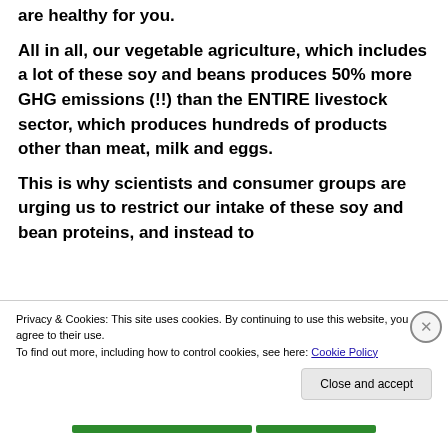are healthy for you.
All in all, our vegetable agriculture, which includes a lot of these soy and beans produces 50% more GHG emissions (!!) than the ENTIRE livestock sector, which produces hundreds of products other than meat, milk and eggs.
This is why scientists and consumer groups are urging us to restrict our intake of these soy and bean proteins, and instead to
Privacy & Cookies: This site uses cookies. By continuing to use this website, you agree to their use.
To find out more, including how to control cookies, see here: Cookie Policy
Close and accept